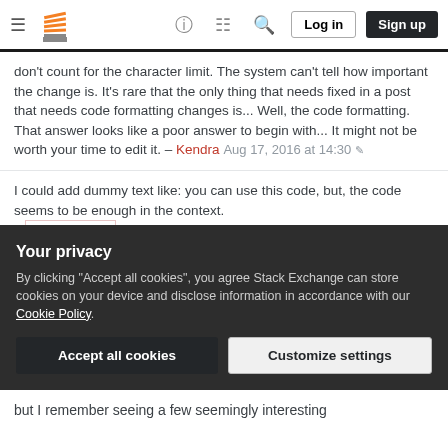Stack Exchange navigation bar with hamburger menu, logo, help, chat, search icons, Log in and Sign up buttons
don't count for the character limit. The system can't tell how important the change is. It's rare that the only thing that needs fixed in a post that needs code formatting changes is... Well, the code formatting. That answer looks like a poor answer to begin with... It might not be worth your time to edit it. – Kendra Aug 17, 2016 at 14:30
I could add dummy text like: you can use this code, but, the code seems to be enough in the context. – Filipe Borges Aug 17, 2016 at 14:33
19 Actually, looking at it again, the answer is 1) really late and 2) almost exactly the same code as the answer in
Your privacy
By clicking "Accept all cookies", you agree Stack Exchange can store cookies on your device and disclose information in accordance with our Cookie Policy.
Accept all cookies
Customize settings
but I remember seeing a few seemingly interesting